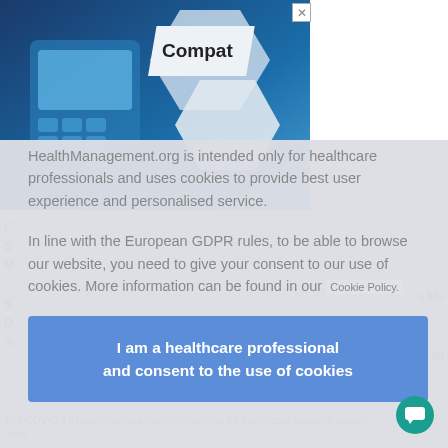[Figure (screenshot): Blue gradient background with calculator/device image and 'Compat' text on white card shape. X close button top right.]
HealthManagement.org is intended only for healthcare professionals and uses cookies to provide best user experience and personalised service.
In line with the European GDPR rules, to be able to browse our website, you need to give your consent to our use of cookies. More information can be found in our Cookie Policy.
I am a healthcare professional and consent to the use of cookies
The COVID-19 pandemic has been challenging for healthcare systems around... more